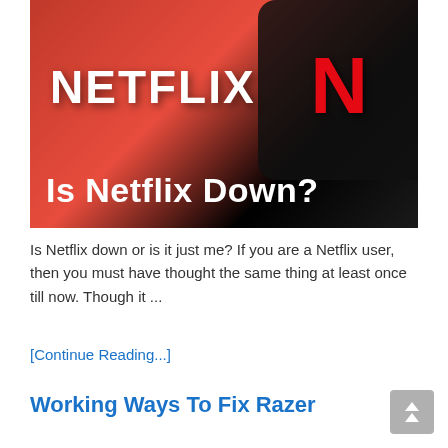[Figure (photo): Netflix branded image showing the Netflix logo on a red background and a hand holding a smartphone with the Netflix N logo. Text overlay reads 'Is Netflix Down?']
Is Netflix down or is it just me? If you are a Netflix user, then you must have thought the same thing at least once till now. Though it ...
[Continue Reading...]
Working Ways To Fix Razer